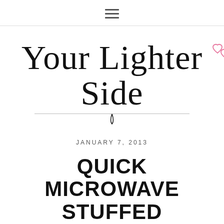≡
[Figure (logo): Your Lighter Side cursive logo with two pink hearts, underlined]
JANUARY 7, 2013
QUICK MICROWAVE STUFFED MUSHROOM